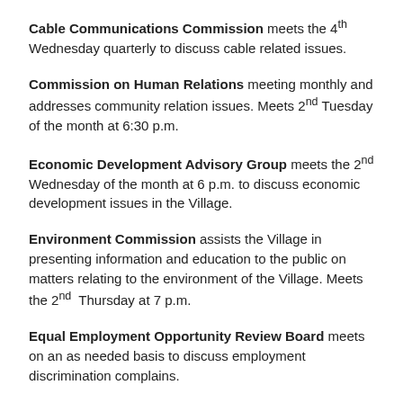Cable Communications Commission meets the 4th Wednesday quarterly to discuss cable related issues.
Commission on Human Relations meeting monthly and addresses community relation issues. Meets 2nd Tuesday of the month at 6:30 p.m.
Economic Development Advisory Group meets the 2nd Wednesday of the month at 6 p.m. to discuss economic development issues in the Village.
Environment Commission assists the Village in presenting information and education to the public on matters relating to the environment of the Village. Meets the 2nd Thursday at 7 p.m.
Equal Employment Opportunity Review Board meets on an as needed basis to discuss employment discrimination complains.
Fair Housing Review Board meets on an as needed basis to adjudicate housing discrimination complaints.